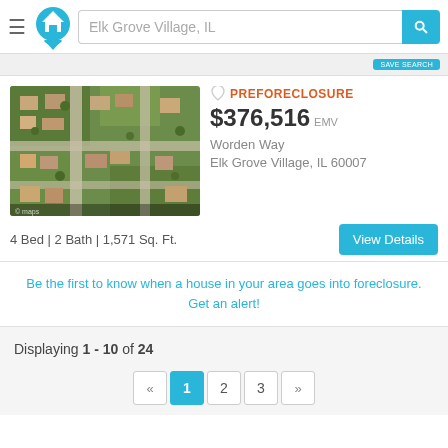[Figure (screenshot): Real estate website header with hamburger menu, house logo, search bar showing 'Elk Grove Village, IL', and blue search button]
PREFORECLOSURE
$376,516 EMV
Worden Way
Elk Grove Village, IL 60007
[Figure (photo): Aerial satellite view of residential neighborhood with streets and houses]
4 Bed | 2 Bath | 1,571 Sq. Ft.
Be the first to know when a house in your area goes into foreclosure. Get an alert!
Displaying 1 - 10 of 24
« 1 2 3 »